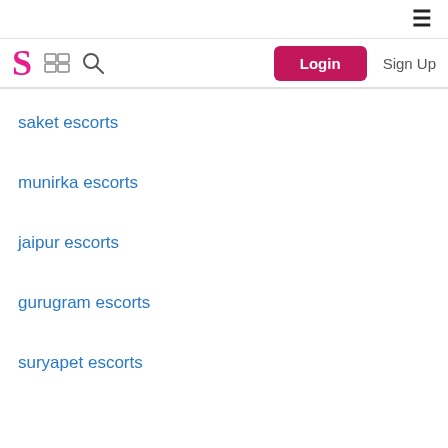≡
[Figure (logo): S logo in pink, grid icon, search icon, Login button, Sign Up text]
saket escorts
munirka escorts
jaipur escorts
gurugram escorts
suryapet escorts